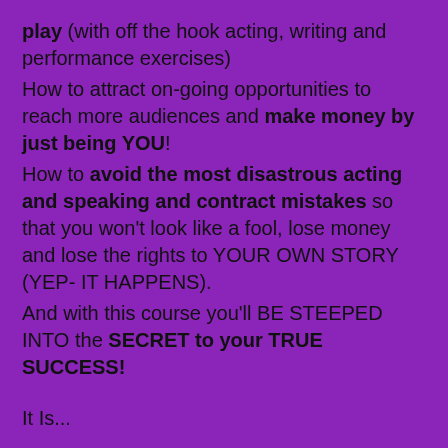play (with off the hook acting, writing and performance exercises) How to attract on-going opportunities to reach more audiences and make money by just being YOU! How to avoid the most disastrous acting and speaking and contract mistakes so that you won't look like a fool, lose money and lose the rights to YOUR OWN STORY (YEP- IT HAPPENS). And with this course you'll BE STEEPED INTO the SECRET to your TRUE SUCCESS!
It Is...